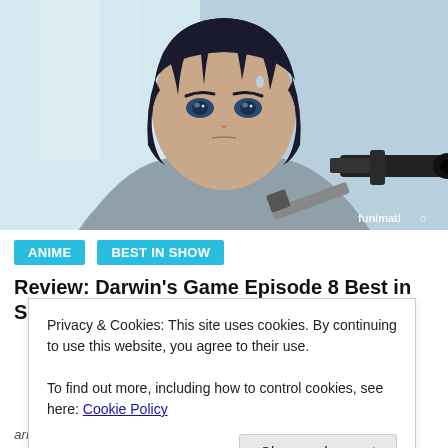[Figure (illustration): Anime character with dark hair holding a gun pointed toward viewer, light blue/grey background, 'funimation' watermark in bottom right]
ANIME
BEST IN SHOW
Review: Darwin's Game Episode 8 Best in Show
Privacy & Cookies: This site uses cookies. By continuing to use this website, you agree to their use.
To find out more, including how to control cookies, see here: Cookie Policy
arrived just in time to intervene — but all he had was a key. A